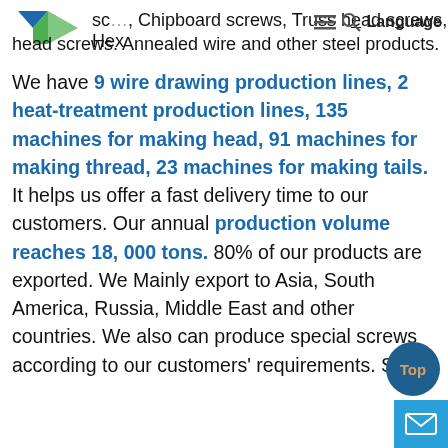sc..., Chipboard screws, Truss head screws, Hex head screws. Annealed wire and other steel products.
We have 9 wire drawing production lines, 2 heat-treatment production lines, 135 machines for making head, 91 machines for making thread, 23 machines for making tails. It helps us offer a fast delivery time to our customers. Our annual production volume reaches 18, 000 tons. 80% of our products are exported. We Mainly export to Asia, South America, Russia, Middle East and other countries. We also can produce special screws according to our customers' requirements. Stabl...